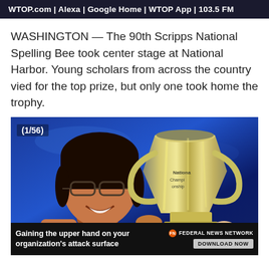WTOP.com | Alexa | Google Home | WTOP App | 103.5 FM
WASHINGTON — The 90th Scripps National Spelling Bee took center stage at National Harbor. Young scholars from across the country vied for the top prize, but only one took home the trophy.
[Figure (photo): A young girl smiling and holding a large silver trophy cup. She is wearing glasses. The background is blue with stage lighting. A counter shows (1/56) in the top-left corner. An advertisement bar at the bottom reads 'Gaining the upper hand on your organization's attack surface' with Federal News Network branding and a DOWNLOAD NOW button.]